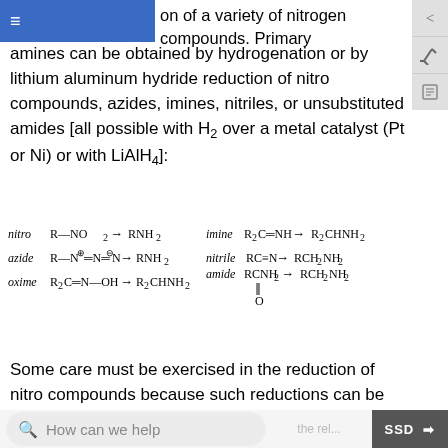on of a variety of nitrogen compounds. Primary amines can be obtained by hydrogenation or by lithium aluminum hydride reduction of nitro compounds, azides, imines, nitriles, or unsubstituted amides [all possible with H2 over a metal catalyst (Pt or Ni) or with LiAlH4]:
[Figure (schematic): Chemical reaction scheme showing reduction of nitro, azide, oxime, imine, nitrile, and amide compounds to amines. nitro: R-NO2 -> RNH2; azide: R-N=N=N -> RNH2; oxime: R2C=N-OH -> R2CHNH2; imine: R2C=NH -> R2CHNH2; nitrile: RC≡N -> RCH2NH2; amide: RCNH2(=O) -> RCH2NH2]
Some care must be exercised in the reduction of nitro compounds because such reductions can be highly exothermic. For example, the reaction of 1 mol (61 g) of nitromethane with hydrogen to give methanamine
How can we help